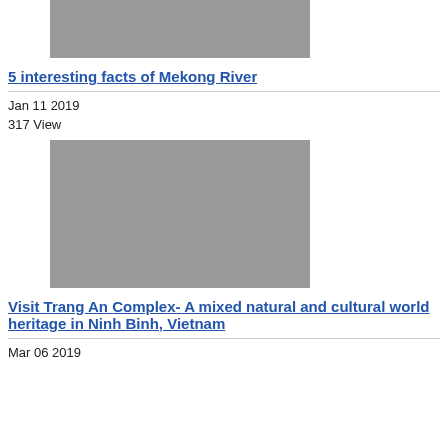[Figure (photo): Aerial view of Mekong River with green vegetation and water]
5 interesting facts of Mekong River
Jan 11 2019
317 View
[Figure (photo): Gray placeholder image for Trang An Complex article]
Visit Trang An Complex- A mixed natural and cultural world heritage in Ninh Binh, Vietnam
Mar 06 2019